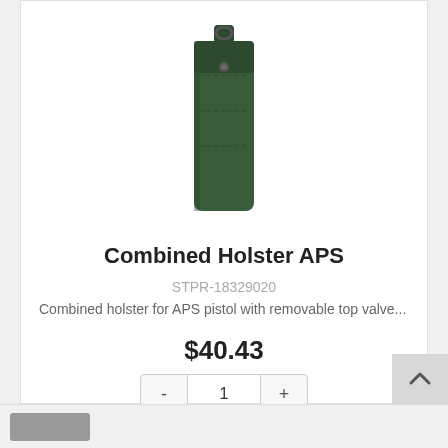[Figure (photo): Product photo of a dark green Combined Holster APS, shown vertically against white background]
Combined Holster APS
STPR-18329020
Combined holster for APS pistol with removable top valve...
$40.43
1
- + quantity and action buttons